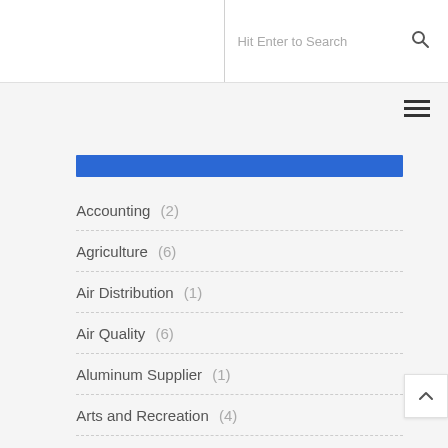Hit Enter to Search
Accounting (2)
Agriculture (6)
Air Distribution (1)
Air Quality (6)
Aluminum Supplier (1)
Arts and Recreation (4)
Astech (1)
Baby Food (1)